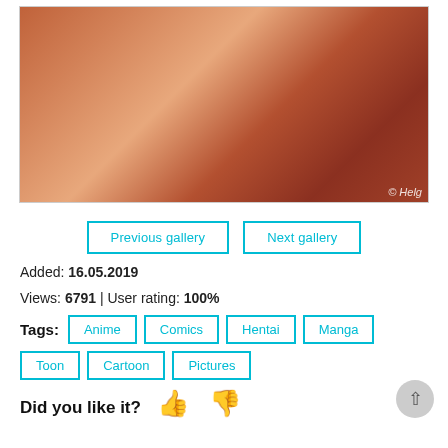[Figure (illustration): Anime/cartoon style illustration with two characters in an intimate scene. Watermark text '© Helg' in bottom right corner.]
Previous gallery | Next gallery
Added: 16.05.2019
Views: 6791 | User rating: 100%
Tags: Anime Comics Hentai Manga Toon Cartoon Pictures
Did you like it?